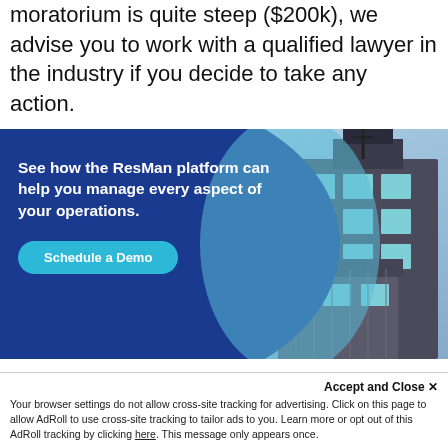moratorium is quite steep ($200k), we advise you to work with a qualified lawyer in the industry if you decide to take any action.
[Figure (infographic): ResMan platform advertisement banner with blue background, apartment building photo on right, bold white tagline 'See how the ResMan platform can help you manage every aspect of your operations.' and a teal 'Schedule a Demo' button.]
3. Prepare now for clusters of vacancies
Accept and Close ×
Your browser settings do not allow cross-site tracking for advertising. Click on this page to allow AdRoll to use cross-site tracking to tailor ads to you. Learn more or opt out of this AdRoll tracking by clicking here. This message only appears once.